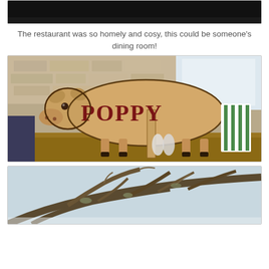[Figure (photo): Top portion of a photo, mostly black/dark, cropped at top of page]
The restaurant was so homely and cosy, this could be someone's dining room!
[Figure (photo): A wooden cow-shaped sign with the name POPPY painted in large red/dark red letters, mounted on a wooden post on a restaurant table. Background shows stone/brick wall and restaurant interior.]
[Figure (photo): Bare winter tree branches with lichen/moss, photographed outdoors, partially visible at bottom of page.]